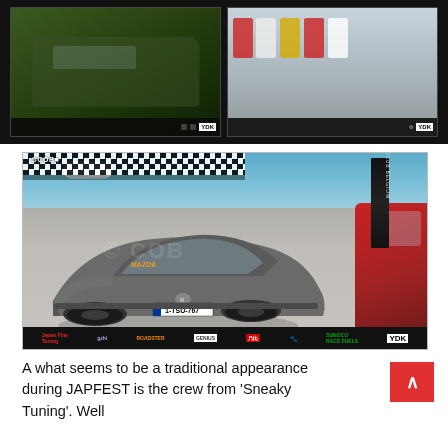[Figure (photo): Two thumbnail photos at top: left shows a green/dark colored sports car (Mazda MX-5) front view with sponsor banner at bottom; right shows multiple Mazda MX-5 cars parked in a row at an event with sponsor banner at bottom including YDK logo.]
[Figure (photo): Large main photo of a grey Mazda MX-5 (license plate 1-TSU-767) at JAPFEST event with checkered flag banner at top, MX-5 Club Belgium banner in background, red Mazda MX-5 visible on right. Sponsor strip at bottom with multiple sponsor logos including YDK.]
A what seems to be a traditional appearance during JAPFEST is the crew from 'Sneaky Tuning'. Well